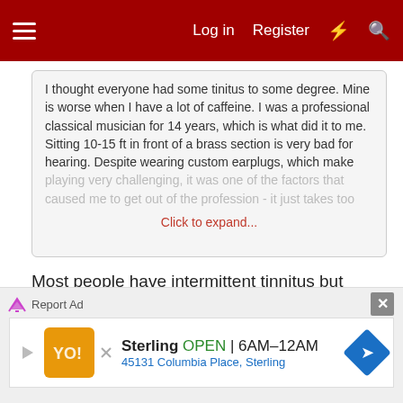Log in  Register
I thought everyone had some tinitus to some degree. Mine is worse when I have a lot of caffeine. I was a professional classical musician for 14 years, which is what did it to me. Sitting 10-15 ft in front of a brass section is very bad for hearing. Despite wearing custom earplugs, which make playing very challenging, it was one of the factors that caused me to get out of the profession - it just takes too
Click to expand...
Most people have intermittent tinnitus but without heavy noise exposure, it rarely becomes permanent.
Yes, caffeine aggravates it. Actually just about everything can irritate it.
[Figure (screenshot): Advertisement banner for Sterling restaurant showing logo, OPEN status, hours 6AM-12AM, and address 45131 Columbia Place, Sterling]